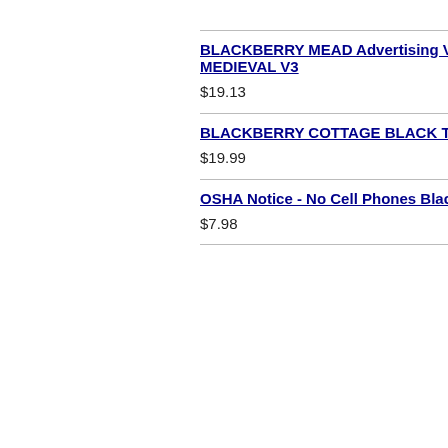BLACKBERRY MEAD Advertising V... MEDIEVAL V3
$19.13
BLACKBERRY COTTAGE BLACK T...
$19.99
OSHA Notice - No Cell Phones Blackb...
$7.98